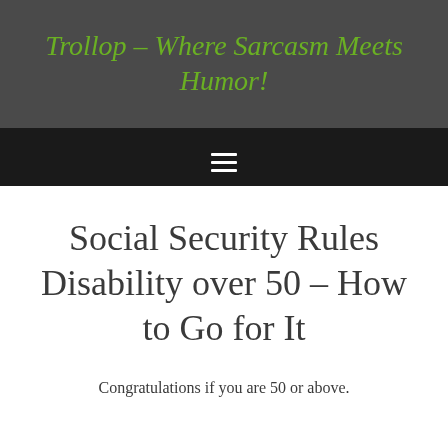Trollop – Where Sarcasm Meets Humor!
Social Security Rules Disability over 50 – How to Go for It
Congratulations if you are 50 or above.